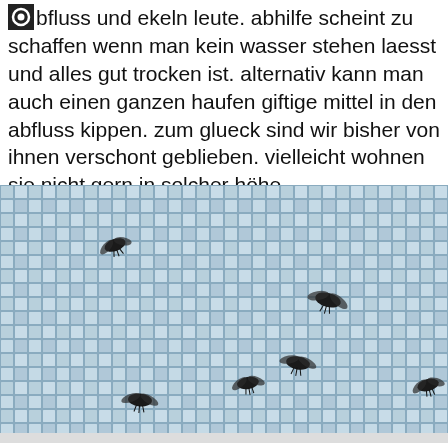bfluss und ekeln leute. abhilfe scheint zu schaffen wenn man kein wasser stehen laesst und alles gut trocken ist. alternativ kann man auch einen ganzen haufen giftige mittel in den abfluss kippen. zum glueck sind wir bisher von ihnen verschont geblieben. vielleicht wohnen sie nicht gern in solcher höhe.
[Figure (photo): Photograph of small dark flies/insects on light blue and grey mosaic bathroom tiles arranged in a grid pattern.]